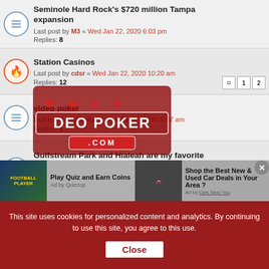Seminole Hard Rock's $720 million Tampa expansion
Last post by M3 « Wed Jan 22, 2020 6:03 pm
Replies: 8
Station Casinos
Last post by cdsr « Wed Jan 22, 2020 10:20 am
Replies: 12
video poker
Last post by KatieKat « Wed Jan 15, 2020 5:37 am
Replies: 1
Gulfstream Park and Hialeah are my favorite Casinos! :D
Last post by case « Sat Dec 14, 2019 7:10 pm
Replies: 4
Question regarding Hard Rock in Hollywood
Last post by tech58 « Wed Dec 11, 2019 5:42 pm
Replies: 1
Resorts World Catskills?
[Figure (infographic): DEO POKER watermark overlay logo with playing card suits]
Play Quiz and Earn Coins
Ad by Quizzop
Shop the Best New & Used Car Deals in Your Area ?
This site uses cookies for personalized content and analytics. By continuing to use this site, you agree to this use. Close